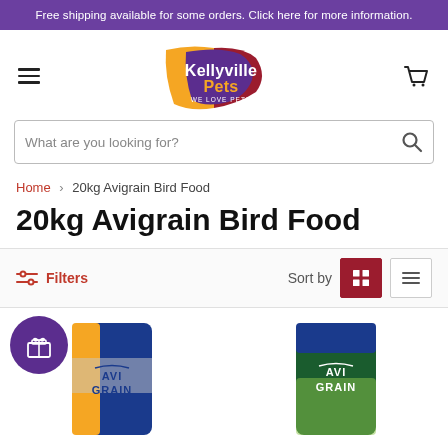Free shipping available for some orders. Click here for more information.
[Figure (logo): Kellyville Pets logo - colourful badge with text 'Kellyville Pets WE LOVE PETS']
What are you looking for?
Home › 20kg Avigrain Bird Food
20kg Avigrain Bird Food
Filters   Sort by
[Figure (photo): Two Avigrain bird food 20kg bags partially visible at the bottom of the page. Left bag has blue, orange and white colouring. Right bag has blue and green colouring. A purple gift badge with a gift icon is overlaid on the top left.]